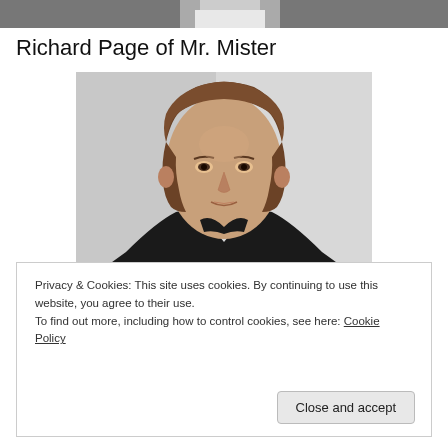[Figure (photo): Partial top strip of a photo showing a person in white, cropped at the top of the page]
Richard Page of Mr. Mister
[Figure (photo): Portrait photo of Richard Page, a middle-aged man with brown hair wearing a black shirt, against a light grey background]
Privacy & Cookies: This site uses cookies. By continuing to use this website, you agree to their use.
To find out more, including how to control cookies, see here: Cookie Policy